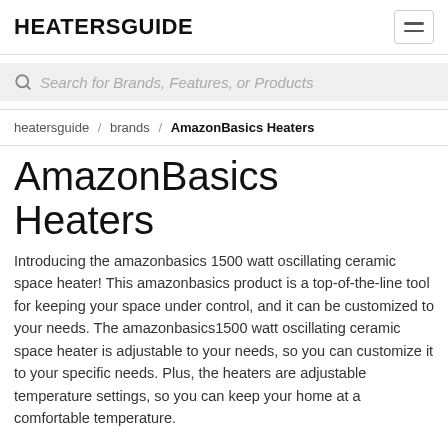HEATERSGUIDE
Search for Brands, Features, or Products
heatersguide / brands / AmazonBasics Heaters
AmazonBasics Heaters
Introducing the amazonbasics 1500 watt oscillating ceramic space heater! This amazonbasics product is a top-of-the-line tool for keeping your space under control, and it can be customized to your needs. The amazonbasics1500 watt oscillating ceramic space heater is adjustable to your needs, so you can customize it to your specific needs. Plus, the heaters are adjustable temperature settings, so you can keep your home at a comfortable temperature.